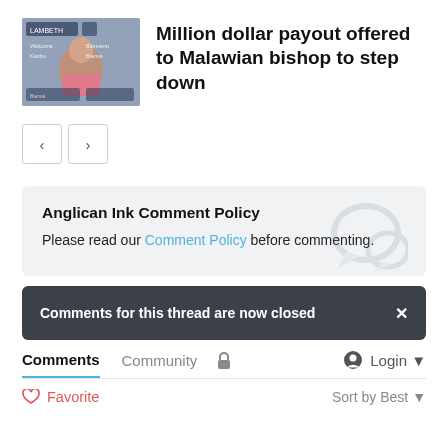[Figure (screenshot): Thumbnail image of a man in a pink shirt at what appears to be a conference or event with text overlays including 'LAMBETH']
Million dollar payout offered to Malawian bishop to step down
< >
Anglican Ink Comment Policy
Please read our Comment Policy before commenting.
Comments for this thread are now closed
Comments  Community  Login
Favorite  Sort by Best